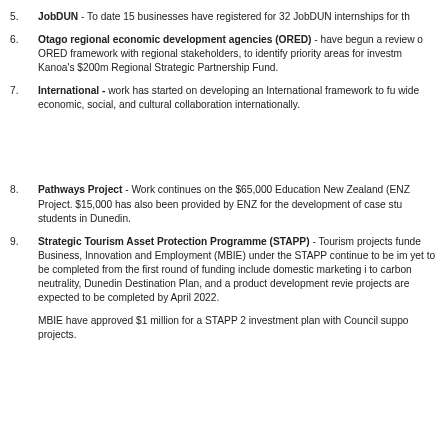5. JobDUN - To date 15 businesses have registered for 32 JobDUN internships for th
6. Otago regional economic development agencies (ORED) - have begun a review of ORED framework with regional stakeholders, to identify priority areas for investment from Kanoa's $200m Regional Strategic Partnership Fund.
7. International - work has started on developing an International framework to further wide economic, social, and cultural collaboration internationally.
8. Pathways Project - Work continues on the $65,000 Education New Zealand (ENZ) Project. $15,000 has also been provided by ENZ for the development of case studies students in Dunedin.
9. Strategic Tourism Asset Protection Programme (STAPP) - Tourism projects funded Business, Innovation and Employment (MBIE) under the STAPP continue to be implemented yet to be completed from the first round of funding include domestic marketing to carbon neutrality, Dunedin Destination Plan, and a product development review projects are expected to be completed by April 2022.
MBIE have approved $1 million for a STAPP 2 investment plan with Council support projects.